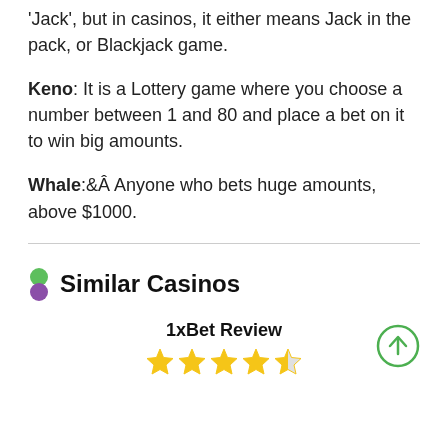'Jack', but in casinos, it either means Jack in the pack, or Blackjack game.
Keno: It is a Lottery game where you choose a number between 1 and 80 and place a bet on it to win big amounts.
Whale: Anyone who bets huge amounts, above $1000.
Similar Casinos
1xBet Review
[Figure (other): Star rating: 4.5 out of 5 stars (4 full stars and 1 half star)]